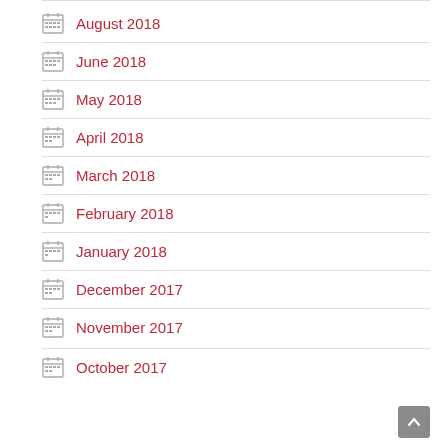August 2018
June 2018
May 2018
April 2018
March 2018
February 2018
January 2018
December 2017
November 2017
October 2017